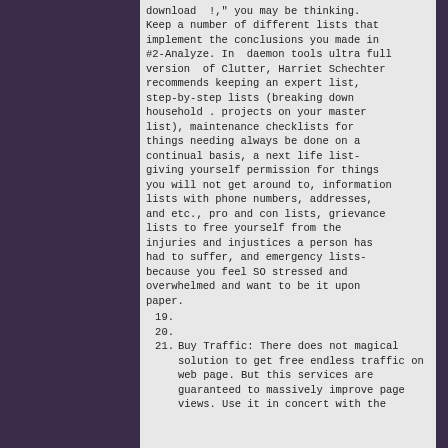download  !,&quot; you may be thinking. Keep a number of different lists that implement the conclusions you made in #2-Analyze. In  daemon tools ultra full version  of Clutter, Harriet Schechter recommends keeping an expert list, step-by-step lists (breaking down household . projects on your master list), maintenance checklists for things needing always be done on a continual basis, a next life list-giving yourself permission for things you will not get around to, information lists with phone numbers, addresses, and etc., pro and con lists, grievance lists to free yourself from the injuries and injustices a person has had to suffer, and emergency lists-because you feel SO stressed and overwhelmed and want to be it upon paper.
19.
20.
21.  Buy Traffic: There does not magical solution to get free endless traffic on web page. But this services are guaranteed to massively improve page views. Use it in concert with the